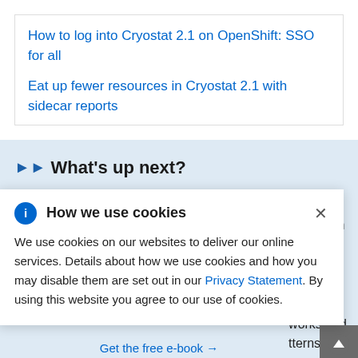How to log into Cryostat 2.1 on OpenShift: SSO for all
Eat up fewer resources in Cryostat 2.1 with sidecar reports
▶▶ What's up next?
The microservice architectural approach is more than …oundation …uly …elp a …itive …opers, …works and …tterns.
How we use cookies
We use cookies on our websites to deliver our online services. Details about how we use cookies and how you may disable them are set out in our Privacy Statement. By using this website you agree to our use of cookies.
Get the free e-book →